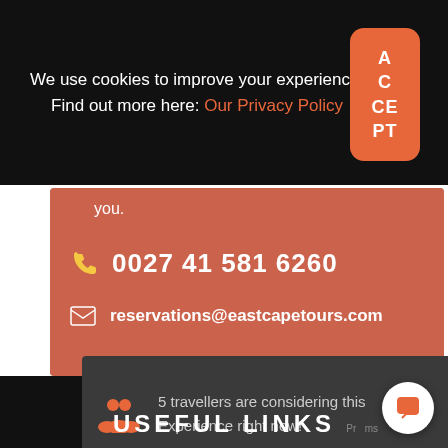We use cookies to improve your experience. Find out more here: Our Privacy Policy
ACCEPT
you.
0027 41 581 6260
reservations@eastcapetours.com
5 travellers are considering this Experience right now!
USEFUL LINKS